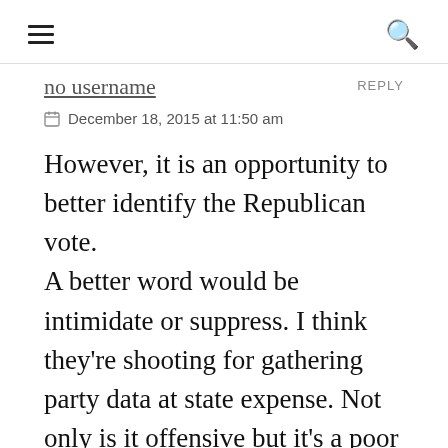≡  🔍
no username  REPLY
December 18, 2015 at 11:50 am
However, it is an opportunity to better identify the Republican vote. A better word would be intimidate or suppress. I think they're shooting for gathering party data at state expense. Not only is it offensive but it's a poor